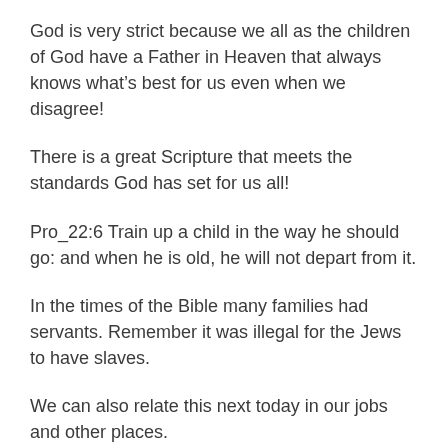God is very strict because we all as the children of God have a Father in Heaven that always knows what’s best for us even when we disagree!
There is a great Scripture that meets the standards God has set for us all!
Pro_22:6 Train up a child in the way he should go: and when he is old, he will not depart from it.
In the times of the Bible many families had servants. Remember it was illegal for the Jews to have slaves.
We can also relate this next today in our jobs and other places.
*****Col 3:22 Servants, obey in all things your masters